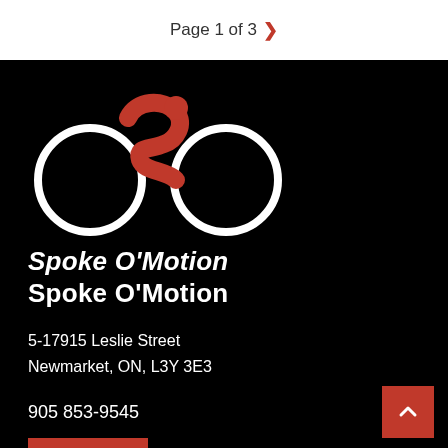Page 1 of 3
[Figure (logo): Spoke O'Motion bicycle logo — two white circle wheels with a red S-shaped cyclist figure and white italic text 'Spoke O'Motion' below on black background]
Spoke O'Motion
5-17915 Leslie Street
Newmarket, ON, L3Y 3E3
905 853-9545